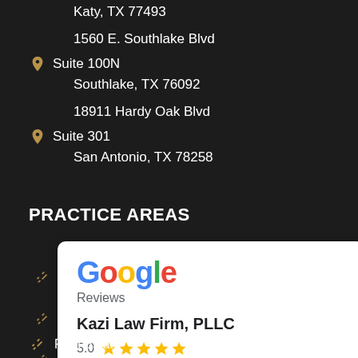Katy, TX 77493
1560 E. Southlake Blvd
Suite 100N
Southlake, TX 76092
18911 Hardy Oak Blvd
Suite 301
San Antonio, TX 78258
PRACTICE AREAS
[Figure (other): Google Reviews card showing Kazi Law Firm, PLLC with a 5.0 star rating]
Real Estate